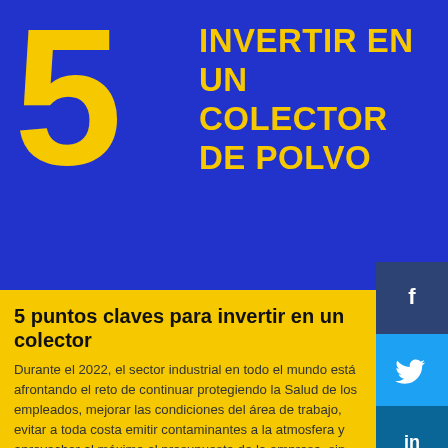[Figure (infographic): Blue banner with large yellow number 5 and text 'INVERTIR EN UN COLECTOR DE POLVO' in yellow on blue background]
5 puntos claves para invertir en un colector
Durante el 2022, el sector industrial en todo el mundo está afrontando el reto de continuar protegiendo la Salud de los empleados, mejorar las condiciones del área de trabajo, evitar a toda costa emitir contaminantes a la atmosfera y aprovechar al máximo el presupuesto de la empresa, sin duda, estos son algunos de los retos que demandan el uso de equipos y tecnología, además de un análisis efectivo que permitan
[Figure (infographic): Social media share buttons: Facebook (dark blue), Twitter (light blue), LinkedIn (dark teal), WhatsApp (green)]